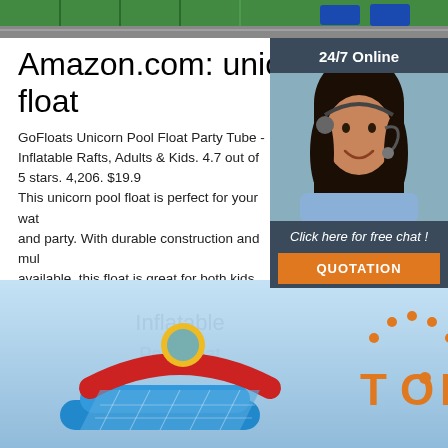[Figure (photo): Top banner image showing a green sports field with road markings and blue vehicles]
Amazon.com: unicorn pool float
GoFloats Unicorn Pool Float Party Tube - Inflatable Rafts, Adults & Kids. 4.7 out of 5 stars. 4,206. $19.9... This unicorn pool float is perfect for your wat... and party. With durable construction and mul... available, this float is great for both kids and
[Figure (photo): Chat widget with 24/7 Online label, customer service representative with headset, Click here for free chat text, and orange QUOTATION button]
Get Price
[Figure (photo): Bottom image showing colorful inflatable bounce house structure against blue sky, with orange TOP logo in bottom right]